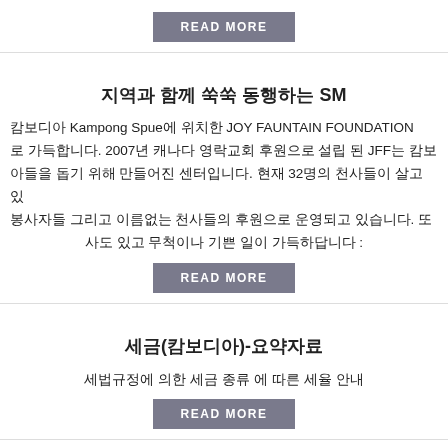READ MORE
지역과 함께 쑥쑥 동행하는 SM
캄보디아 Kampong Spue에 위치한 JOY FAUNTAIN FOUNDATION 로 가득합니다. 2007년 캐나다 영락교회 후원으로 설립 된 JFF는 캄보 아들을 돕기 위해 만들어진 센터입니다. 현재 32명의 천사들이 살고 있 봉사자들 그리고 이름없는 천사들의 후원으로 운영되고 있습니다. 또 사도 있고 무척이나 기쁜 일이 가득하답니다 :
READ MORE
세금(캄보디아)-요약자료
세법규정에 의한 세금 종류 에 따른 세율 안내
READ MORE
2014 캄보디아 비즈니스 세미나 참가 안내문
개최일시:2014. 03. 25(화). 10:00-12:00/ 2014.03.27(